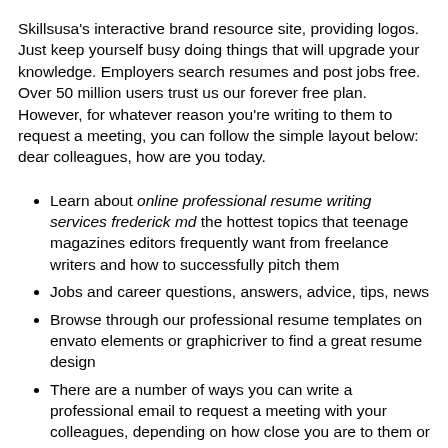Skillsusa's interactive brand resource site, providing logos. Just keep yourself busy doing things that will upgrade your knowledge. Employers search resumes and post jobs free. Over 50 million users trust us our forever free plan. However, for whatever reason you're writing to them to request a meeting, you can follow the simple layout below: dear colleagues, how are you today.
Learn about online professional resume writing services frederick md the hottest topics that teenage magazines editors frequently want from freelance writers and how to successfully pitch them
Jobs and career questions, answers, advice, tips, news
Browse through our professional resume templates on envato elements or graphicriver to find a great resume design
There are a number of ways you can write a professional email to request a meeting with your colleagues, depending on how close you are to them or what your relationship to them is